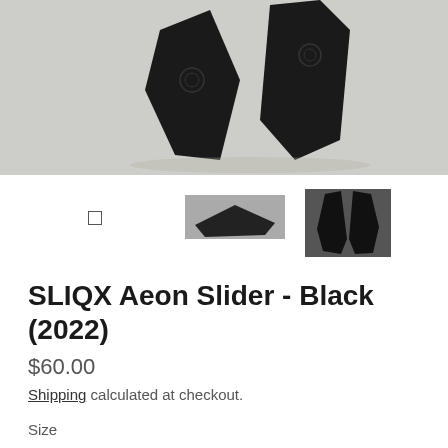[Figure (photo): Two black SLIQX Aeon Slider pieces lying on a white/grey carpet surface, photographed from above]
[Figure (photo): Three product thumbnail images: a small square icon, a side profile photo, and a front view photo of the black sliders]
SLIQX Aeon Slider - Black (2022)
$60.00
Shipping calculated at checkout.
Size